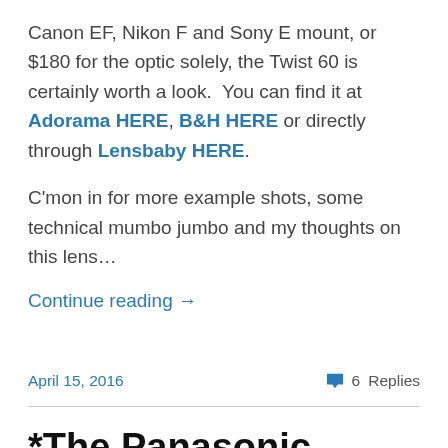Canon EF, Nikon F and Sony E mount, or $180 for the optic solely, the Twist 60 is certainly worth a look.  You can find it at Adorama HERE, B&H HERE or directly through Lensbaby HERE.
C'mon in for more example shots, some technical mumbo jumbo and my thoughts on this lens…
Continue reading →
April 15, 2016
6 Replies
*The Panasonic Lumix GX8 vs GX7 showdown. How much of an upgrade is it, really? Well…